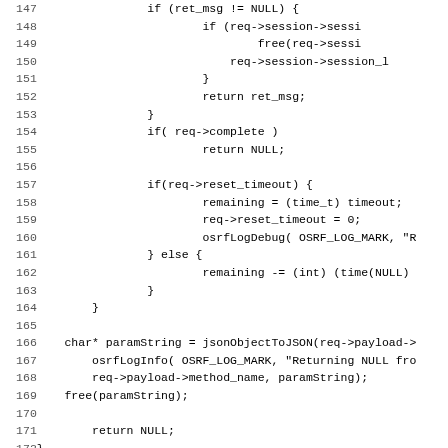[Figure (screenshot): Source code listing in C, lines 147-179, showing function body with session handling, timeout logic, JSON parameter string, and a resend function stub.]